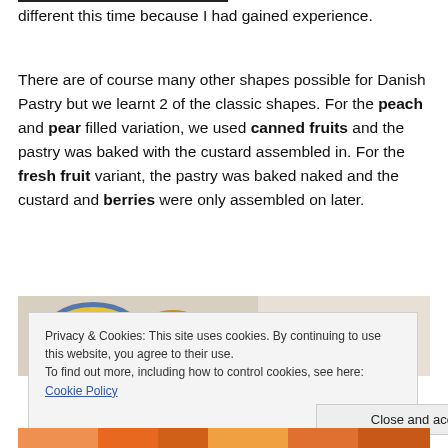different this time because I had gained experience.
There are of course many other shapes possible for Danish Pastry but we learnt 2 of the classic shapes. For the peach and pear filled variation, we used canned fruits and the pastry was baked with the custard assembled in. For the fresh fruit variant, the pastry was baked naked and the custard and berries were only assembled on later.
[Figure (photo): Photo of bowls and spoons with pastry ingredients including berries and fruits on a light background]
Privacy & Cookies: This site uses cookies. By continuing to use this website, you agree to their use. To find out more, including how to control cookies, see here: Cookie Policy
[Figure (photo): Partial photo visible at bottom of page showing pastry with fruits]